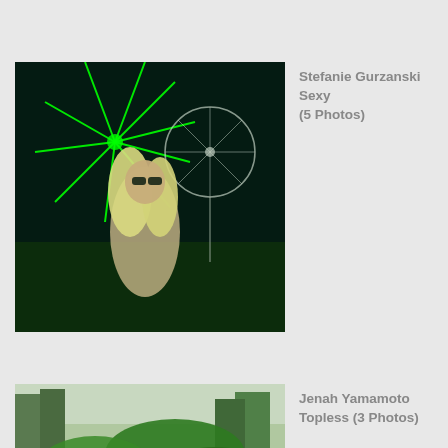[Figure (photo): Blonde woman in sheer beige outfit and sunglasses standing at a fairground at night with green neon lights and a Ferris wheel in background]
Stefanie Gurzanski Sexy (5 Photos)
[Figure (photo): Tropical jungle scene with large green leaves and trees]
Jenah Yamamoto Topless (3 Photos)